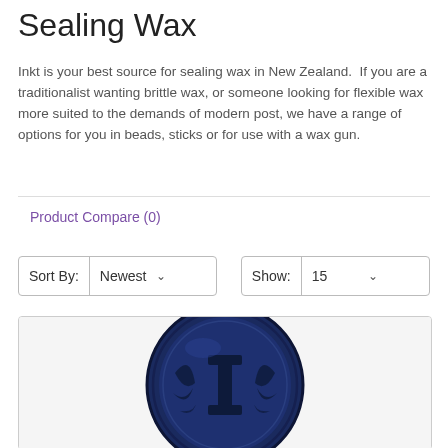Sealing Wax
Inkt is your best source for sealing wax in New Zealand.  If you are a traditionalist wanting brittle wax, or someone looking for flexible wax more suited to the demands of modern post, we have a range of options for you in beads, sticks or for use with a wax gun.
Product Compare (0)
Sort By: Newest    Show: 15
[Figure (photo): A dark navy blue wax seal with an embossed decorative design featuring the letter I surrounded by ornate floral or leaf motifs, shown on a light background.]